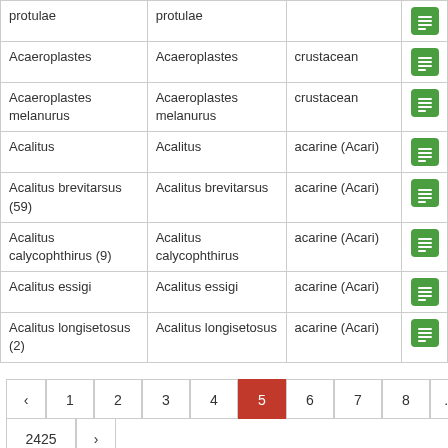|  |  |  |  |
| --- | --- | --- | --- |
| protulae | protulae |  | icon |
| Acaeroplastes | Acaeroplastes | crustacean | icon |
| Acaeroplastes melanurus | Acaeroplastes melanurus | crustacean | icon |
| Acalitus | Acalitus | acarine (Acari) | icon |
| Acalitus brevitarsus (59) | Acalitus brevitarsus | acarine (Acari) | icon |
| Acalitus calycophthirus (9) | Acalitus calycophthirus | acarine (Acari) | icon |
| Acalitus essigi | Acalitus essigi | acarine (Acari) | icon |
| Acalitus longisetosus (2) | Acalitus longisetosus | acarine (Acari) | icon |
Pagination: ‹ 1 2 3 4 5 6 7 8 ... 2424 | 2425 ›